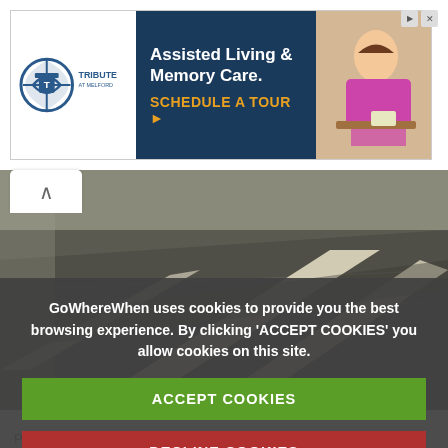[Figure (photo): Advertisement banner for Tribute at Melford assisted living and memory care facility, showing logo, text and photo of elderly person crafting]
[Figure (photo): Road surface with white lane markings, close-up perspective looking along the road]
GoWhereWhen uses cookies to provide you the best browsing experience. By clicking 'ACCEPT COOKIES' you allow cookies on this site.
ACCEPT COOKIES
DECLINE COOKIES
What are cookies?
Promoting the riding ... racing of vintage...